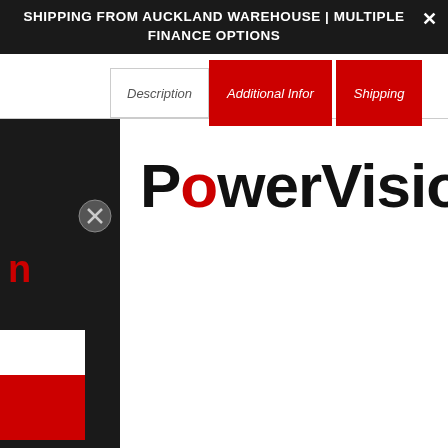SHIPPING FROM AUCKLAND WAREHOUSE | MULTIPLE FINANCE OPTIONS
Description  Additional Infor  Shipping
[Figure (logo): PowerVision logo in large black bold text with red 'o' in 'Power']
er Dolphin is a new generation of floating drone. the fishing release system, from the beach you quickly deploy a number of baits upto 800 meters ore, and quickly see where your drone is (in real-